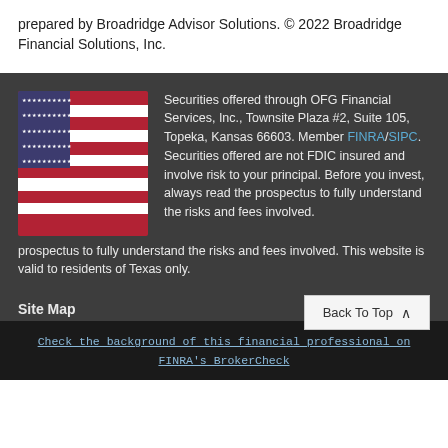prepared by Broadridge Advisor Solutions. © 2022 Broadridge Financial Solutions, Inc.
[Figure (photo): American flag photo used as logo/branding image]
Securities offered through OFG Financial Services, Inc., Townsite Plaza #2, Suite 105, Topeka, Kansas 66603. Member FINRA/SIPC. Securities offered are not FDIC insured and involve risk to your principal. Before you invest, always read the prospectus to fully understand the risks and fees involved. This website is valid to residents of Texas only.
Site Map
Back To Top ∧
Check the background of this financial professional on FINRA's BrokerCheck